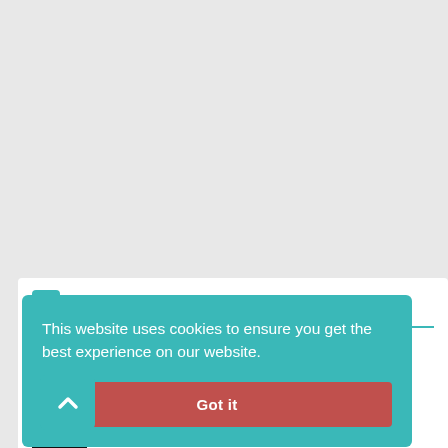[Figure (screenshot): Gray background area (empty content region above the news section)]
Related News
...ockwork
a Inu Team Announces...
[Figure (screenshot): Cookie consent overlay: 'This website uses cookies to ensure you get the best experience on our website.' with a 'Got it' button]
[Figure (screenshot): Scroll-to-top button with upward chevron arrow]